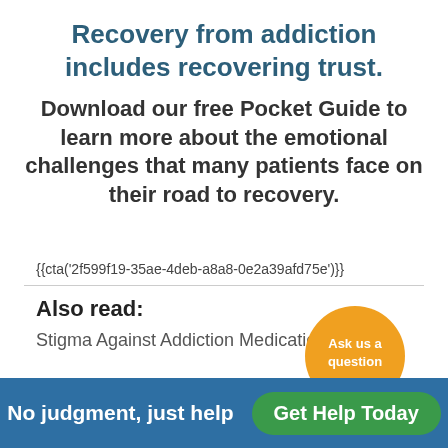Recovery from addiction includes recovering trust.
Download our free Pocket Guide to learn more about the emotional challenges that many patients face on their road to recovery.
{{cta('2f599f19-35ae-4deb-a8a8-0e2a39afd75e')}}
[Figure (illustration): Orange speech bubble with text 'Ask us a question']
Also read:
Stigma Against Addiction Medication
No judgment, just help   Get Help Today